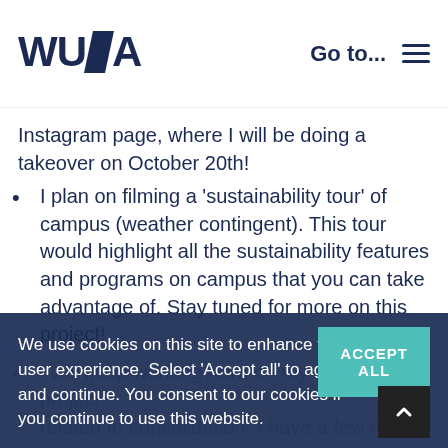WUSA  Go to...
Instagram page, where I will be doing a takeover on October 20th!
I plan on filming a 'sustainability tour' of campus (weather contingent). This tour would highlight all the sustainability features and programs on campus that you can take advantage of. Stay tuned for more on this project!
I will keep working hard on my exciting project related to consolidation. I have a few more consolidation meetings about it over the next few weeks to really hash out the fi...
We use cookies on this site to enhance the user experience. Select 'Accept all' to agree and continue. You consent to our cookies if you continue to use this website.
ACCEPT ALL